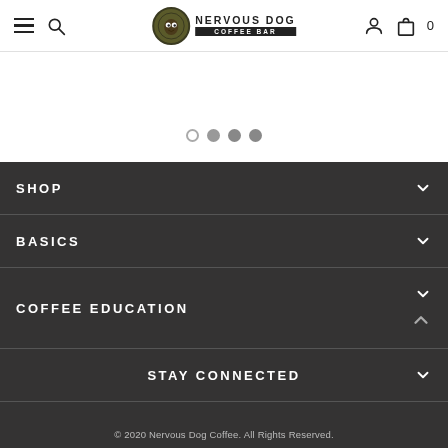Nervous Dog Coffee Bar
[Figure (screenshot): Carousel slider dot indicators: one hollow circle followed by three filled grey circles]
SHOP
BASICS
COFFEE EDUCATION
STAY CONNECTED
© 2020 Nervous Dog Coffee. All Rights Reserved.